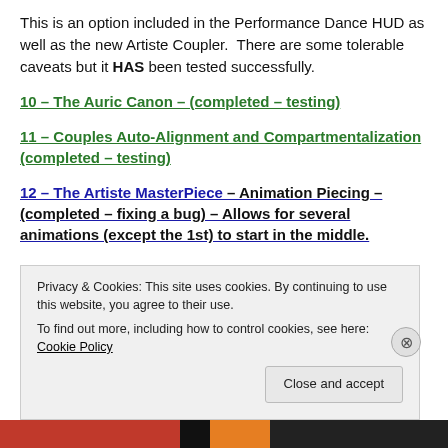This is an option included in the Performance Dance HUD as well as the new Artiste Coupler.  There are some tolerable caveats but it HAS been tested successfully.
10 – The Auric Canon – (completed – testing)
11 – Couples Auto-Alignment and Compartmentalization (completed – testing)
12 – The Artiste MasterPiece – Animation Piecing – (completed – fixing a bug) – Allows for several animations (except the 1st) to start in the middle.
Privacy & Cookies: This site uses cookies. By continuing to use this website, you agree to their use.
To find out more, including how to control cookies, see here: Cookie Policy